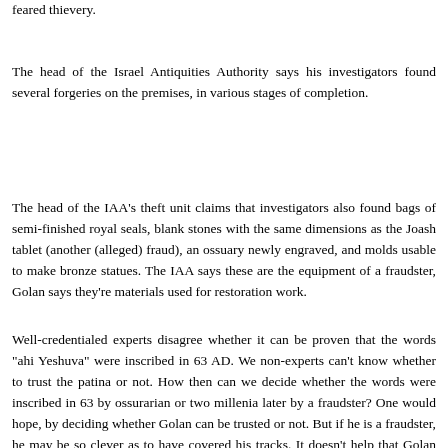feared thievery.
The head of the Israel Antiquities Authority says his investigators found several forgeries on the premises, in various stages of completion.
The head of the IAA's theft unit claims that investigators also found bags of semi-finished royal seals, blank stones with the same dimensions as the Joash tablet (another (alleged) fraud), an ossuary newly engraved, and molds usable to make bronze statues. The IAA says these are the equipment of a fraudster, Golan says they're materials used for restoration work.
Well-credentialed experts disagree whether it can be proven that the words "ahi Yeshuva" were inscribed in 63 AD. We non-experts can't know whether to trust the patina or not. How then can we decide whether the words were inscribed in 63 by ossurarian or two millenia later by a fraudster? One would hope, by deciding whether Golan can be trusted or not. But if he is a fraudster, he may be so clever as to have covered his tracks. It doesn't help that Golan reportedly says he doesn't remember from whom he